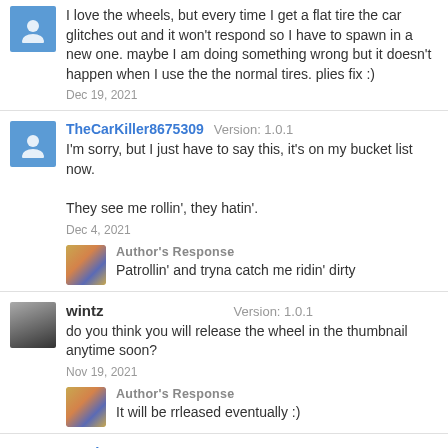I love the wheels, but every time I get a flat tire the car glitches out and it won't respond so I have to spawn in a new one. maybe I am doing something wrong but it doesn't happen when I use the the normal tires. plies fix :)
Dec 19, 2021
TheCarKiller8675309
Version: 1.0.1
I'm sorry, but I just have to say this, it's on my bucket list now.

They see me rollin', they hatin'.
Dec 4, 2021
Author's Response
Patrollin' and tryna catch me ridin' dirty
wintz
Version: 1.0.1
do you think you will release the wheel in the thumbnail anytime soon?
Nov 19, 2021
Author's Response
It will be rrleased eventually :)
Not in a team
Version: 1.0.1
Mm, I only get the tire, rims spawn too but detached and